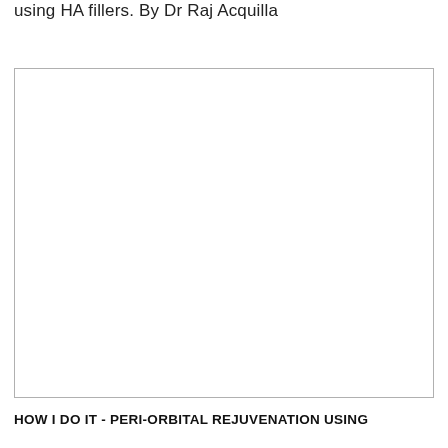using HA fillers. By Dr Raj Acquilla
[Figure (photo): A large blank/white image placeholder box with a light grey border, representing a clinical or procedural photograph related to peri-orbital rejuvenation using HA fillers.]
HOW I DO IT - PERI-ORBITAL REJUVENATION USING